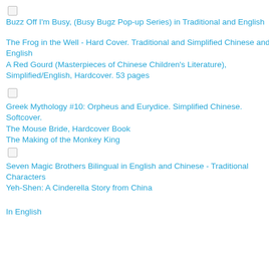[Figure (other): Checkbox (unchecked) at top]
Buzz Off I'm Busy, (Busy Bugz Pop-up Series) in Traditional and English
The Frog in the Well - Hard Cover. Traditional and Simplified Chinese and English
A Red Gourd (Masterpieces of Chinese Children's Literature), Simplified/English, Hardcover. 53 pages
[Figure (other): Checkbox (unchecked)]
Greek Mythology #10: Orpheus and Eurydice. Simplified Chinese. Softcover.
The Mouse Bride, Hardcover Book
The Making of the Monkey King
[Figure (other): Checkbox (unchecked)]
Seven Magic Brothers Bilingual in English and Chinese - Traditional Characters
Yeh-Shen: A Cinderella Story from China
In English